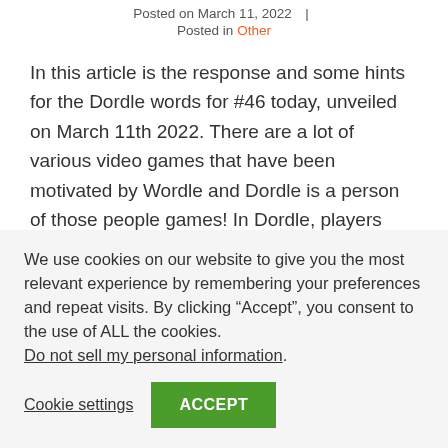Posted on March 11, 2022  |  Posted in Other
In this article is the response and some hints for the Dordle words for #46 today, unveiled on March 11th 2022. There are a lot of various video games that have been motivated by Wordle and Dordle is a person of those people games! In Dordle, players need to guess two five-letter terms at the
We use cookies on our website to give you the most relevant experience by remembering your preferences and repeat visits. By clicking “Accept”, you consent to the use of ALL the cookies.
Do not sell my personal information.
Cookie settings  ACCEPT